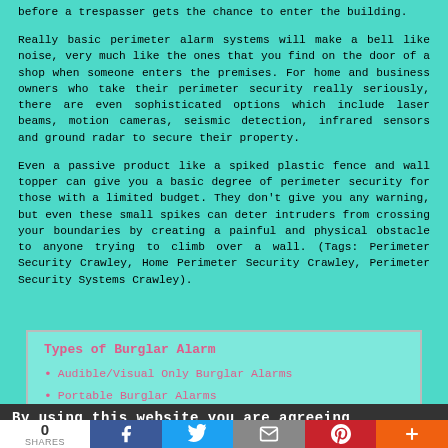before a trespasser gets the chance to enter the building.
Really basic perimeter alarm systems will make a bell like noise, very much like the ones that you find on the door of a shop when someone enters the premises. For home and business owners who take their perimeter security really seriously, there are even sophisticated options which include laser beams, motion cameras, seismic detection, infrared sensors and ground radar to secure their property.
Even a passive product like a spiked plastic fence and wall topper can give you a basic degree of perimeter security for those with a limited budget. They don't give you any warning, but even these small spikes can deter intruders from crossing your boundaries by creating a painful and physical obstacle to anyone trying to climb over a wall. (Tags: Perimeter Security Crawley, Home Perimeter Security Crawley, Perimeter Security Systems Crawley).
Types of Burglar Alarm
Audible/Visual Only Burglar Alarms
Portable Burglar Alarms
By using this website you are agreeing
0 SHARES